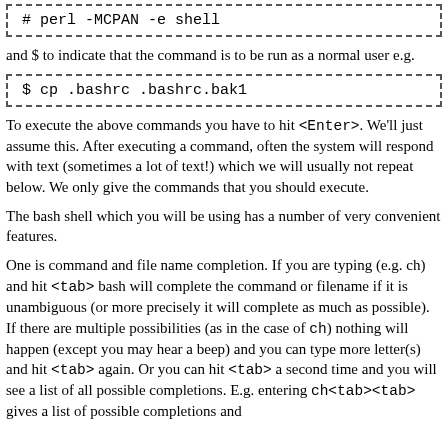# perl -MCPAN -e shell
and $ to indicate that the command is to be run as a normal user e.g.
$ cp .bashrc .bashrc.bak1
To execute the above commands you have to hit <Enter>. We'll just assume this. After executing a command, often the system will respond with text (sometimes a lot of text!) which we will usually not repeat below. We only give the commands that you should execute.
The bash shell which you will be using has a number of very convenient features.
One is command and file name completion. If you are typing (e.g. ch) and hit <tab> bash will complete the command or filename if it is unambiguous (or more precisely it will complete as much as possible). If there are multiple possibilities (as in the case of ch) nothing will happen (except you may hear a beep) and you can type more letter(s) and hit <tab> again. Or you can hit <tab> a second time and you will see a list of all possible completions. E.g. entering ch<tab><tab> gives a list of possible completions and